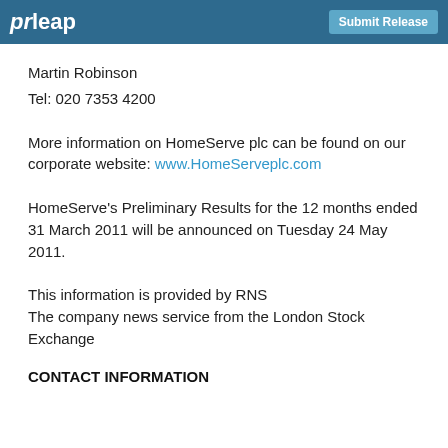prleap  Submit Release
Martin Robinson
Tel: 020 7353 4200
More information on HomeServe plc can be found on our corporate website: www.HomeServeplc.com
HomeServe's Preliminary Results for the 12 months ended 31 March 2011 will be announced on Tuesday 24 May 2011.
This information is provided by RNS
The company news service from the London Stock Exchange
CONTACT INFORMATION